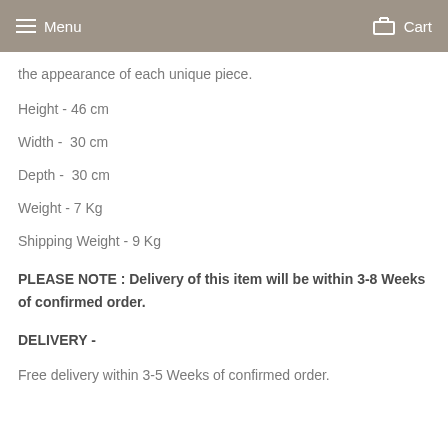Menu  Cart
the appearance of each unique piece.
Height - 46 cm
Width -  30 cm
Depth -  30 cm
Weight - 7 Kg
Shipping Weight - 9 Kg
PLEASE NOTE : Delivery of this item will be within 3-8 Weeks of confirmed order.
DELIVERY -
Free delivery within 3-5 Weeks of confirmed order.